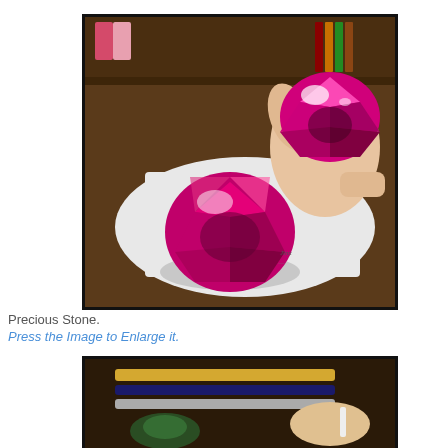[Figure (photo): A hand holding a pink/magenta faceted precious gemstone above a photorealistic pencil drawing of the same gemstone on white paper, placed on a wooden desk with colored pencils and art supplies visible in the background. Artist's signature visible on the paper.]
Precious Stone.
Press the Image to Enlarge it.
[Figure (photo): Bottom portion of a second image showing a wooden desk with colored pencils and a hand drawing, partially visible.]